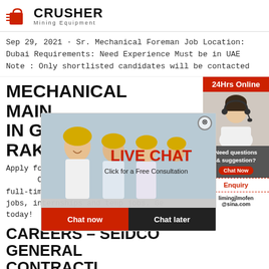[Figure (logo): Crusher Mining Equipment logo with red shopping bag icon and bold CRUSHER text]
Sep 29, 2021 · Sr. Mechanical Foreman Job Location: Dubai Requirements: Need Experience Must be in UAE Note : Only shortlisted candidates will be contacted
MECHANICAL MAINTENANCE IN GRINDING COMPANIES IN RAK .
[Figure (infographic): Live Chat popup overlay showing people in hard hats, LIVE CHAT text in red, Click for a Free Consultation, Chat now and Chat later buttons]
Apply for Mechanical Maintenance Jobs in Mining Companies Rak today! Apply for full-time jobs, part-time jobs, student jobs, internships and temp jobs. Get hired today!
CAREERS – SEIDCO GENERAL CONTRACTING COMPANY LLC
[Figure (infographic): Right sidebar with 24Hrs Online badge, woman with headset photo, Need questions & suggestion? Chat Now button, Enquiry link, and limingjlmofen@sina.com email]